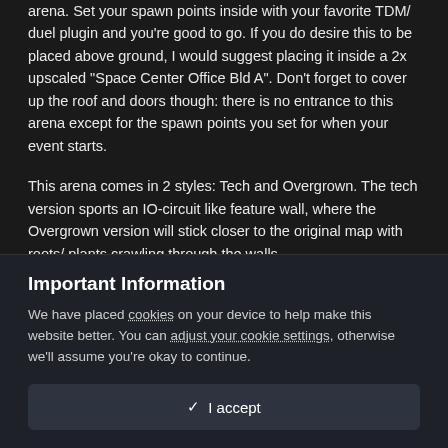arena. Set your spawn points inside with your favorite TDM/ duel plugin and you're good to go. If you do desire this to be placed above ground, I would suggest placing it inside a 2x upscaled "Space Center Office Bld A". Don't forget to cover up the roof and doors though: there is no entrance to this arena except for the spawn points you set for when your event starts.
This arena comes in 2 styles: Tech and Overgrown. The tech version sports an IO-circuit like feature wall, where the Overgrown version will stick closer to the original map with roots/ plants crawling through the walls.
Important Information
We have placed cookies on your device to help make this website better. You can adjust your cookie settings, otherwise we'll assume you're okay to continue.
✓ I accept